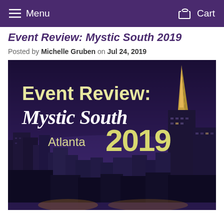Menu   Cart
Event Review: Mystic South 2019
Posted by Michelle Gruben on Jul 24, 2019
[Figure (photo): Promotional image for Event Review: Mystic South Atlanta 2019, showing the Atlanta city skyline at night with purple-tinted sky. Text overlay reads: 'Event Review: Mystic South Atlanta 2019' in stylized fonts.]